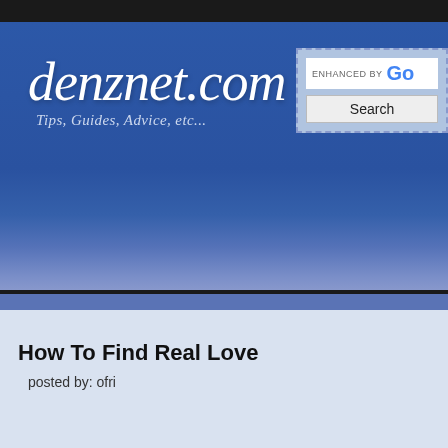[Figure (screenshot): denznet.com website header with logo, tagline 'Tips, Guides, Advice, etc...' and a Google-enhanced search box]
How To Find Real Love
posted by: ofri
[Figure (screenshot): Facebook 'Join Us On Facebook' sidebar widget with blue header, partially cropped on right side]